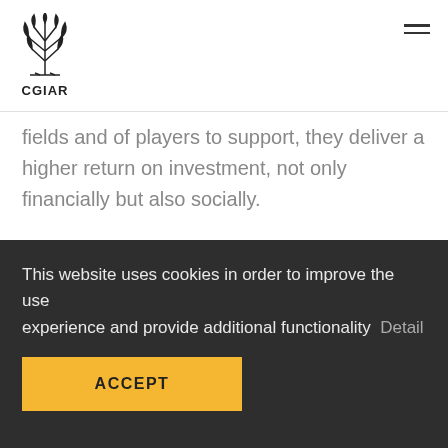CGIAR
fields and of players to support, they deliver a higher return on investment, not only financially but also socially.
The impact of high complacency cultures can sometimes be seen in plant breeding. For instance, a rather large number of breeding programs still
This website uses cookies in order to improve the use experience and provide additional functionality   Detail
ACCEPT